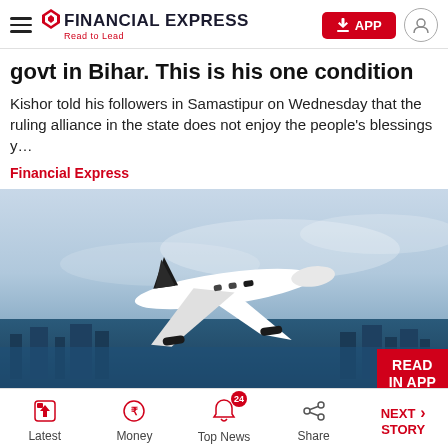FINANCIAL EXPRESS — Read to Lead
govt in Bihar. This is his one condition
Kishor told his followers in Samastipur on Wednesday that the ruling alliance in the state does not enjoy the people's blessings y…
Financial Express
[Figure (photo): A white private jet aircraft flying over a city skyline, viewed from slightly above. Sky is light blue with haze. 'READ IN APP' badge in red at bottom right corner.]
Latest | Money | Top News (24) | Share | NEXT STORY